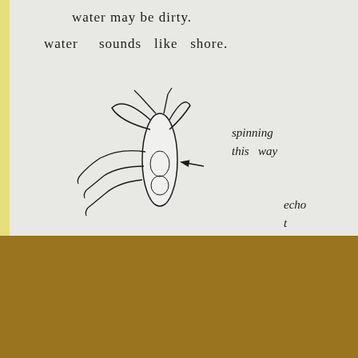water may be dirty.
water    sounds like shore.
[Figure (illustration): Hand-drawn sketch of an insect/dragonfly with wings at top and elongated body, with an arrow pointing left labeled 'spinning this way']
spinning
this   way
echo
t
drip   dr